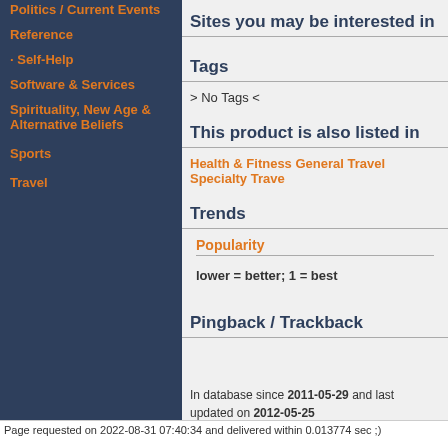Politics / Current Events
Reference
Self-Help
Software & Services
Spirituality, New Age & Alternative Beliefs
Sports
Travel
Sites you may be interested in
Tags
> No Tags <
This product is also listed in
Health & Fitness General Travel Specialty Travel
Trends
Popularity
lower = better; 1 = best
Pingback / Trackback
In database since 2011-05-29 and last updated on 2012-05-25
Page requested on 2022-08-31 07:40:34 and delivered within 0.013774 sec ;)